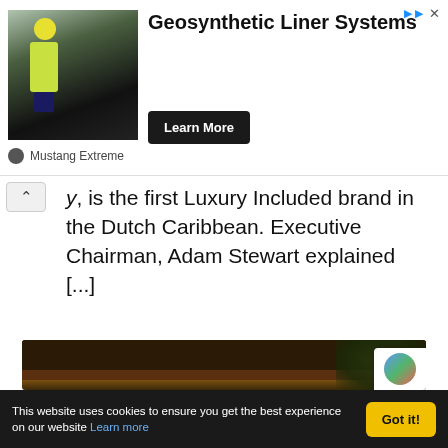[Figure (photo): Advertisement banner for Mustang Extreme Geosynthetic Liner Systems showing a worker in a yellow jacket on a dark surface with a Learn More button]
y, is the first Luxury Included brand in the Dutch Caribbean. Executive Chairman, Adam Stewart explained [...]
[Figure (photo): Warm golden-toned photo of a tropical outdoor area viewed from under a wooden beam/roof structure, with water and foliage visible]
This website uses cookies to ensure you get the best experience on our website Learn more